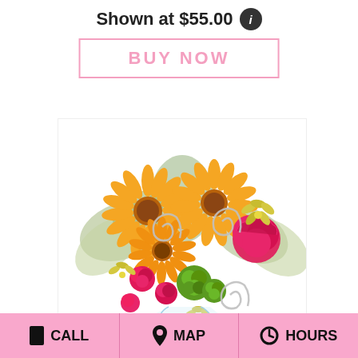Shown at $55.00
BUY NOW
[Figure (photo): A colorful flower bouquet arrangement featuring orange gerbera daisies, pink roses, hot pink carnations, green pompons, yellow alstroemeria, and silver spiral wire accents, with green foliage, displayed in a clear glass vase on a white background.]
CALL   MAP   HOURS